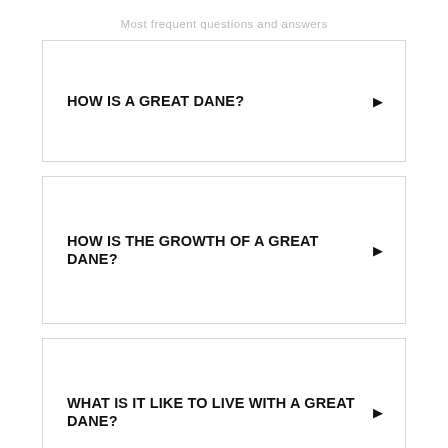Most frequent questions and answers
HOW IS A GREAT DANE?
HOW IS THE GROWTH OF A GREAT DANE?
WHAT IS IT LIKE TO LIVE WITH A GREAT DANE?
(partial) GREAT DANE TREAT...